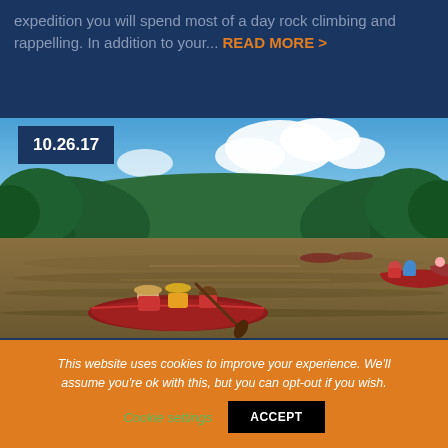expedition you will spend most of a day rock climbing and rappelling. In addition to your... READ MORE >
[Figure (photo): People canoeing in red canoes on a brown river, surrounded by green trees and hills under a partly cloudy blue sky. Date badge reads 10.26.17]
This website uses cookies to improve your experience. We'll assume you're ok with this, but you can opt-out if you wish. Cookie settings  ACCEPT